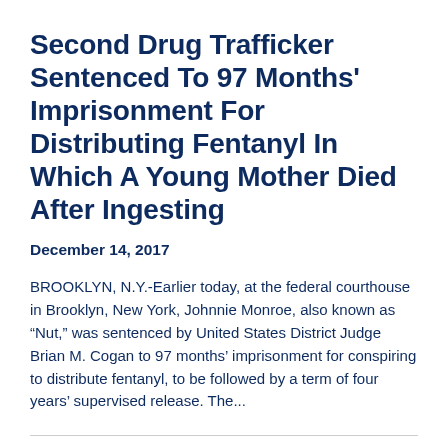Second Drug Trafficker Sentenced To 97 Months' Imprisonment For Distributing Fentanyl In Which A Young Mother Died After Ingesting
December 14, 2017
BROOKLYN, N.Y.-Earlier today, at the federal courthouse in Brooklyn, New York, Johnnie Monroe, also known as “Nut,” was sentenced by United States District Judge Brian M. Cogan to 97 months’ imprisonment for conspiring to distribute fentanyl, to be followed by a term of four years’ supervised release. The...
Member Of Eastern European